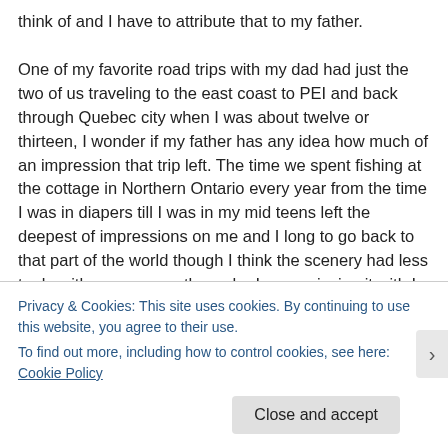think of and I have to attribute that to my father.

One of my favorite road trips with my dad had just the two of us traveling to the east coast to PEI and back through Quebec city when I was about twelve or thirteen, I wonder if my father has any idea how much of an impression that trip left. The time we spent fishing at the cottage in Northern Ontario every year from the time I was in diapers till I was in my mid teens left the deepest of impressions on me and I long to go back to that part of the world though I think the scenery had less to do with my memory than who I was enjoying it with I think. All my fondest memories of bonding with my father were on holiday as I have very few fond memories of our home life together. I know
Privacy & Cookies: This site uses cookies. By continuing to use this website, you agree to their use.
To find out more, including how to control cookies, see here: Cookie Policy
Close and accept